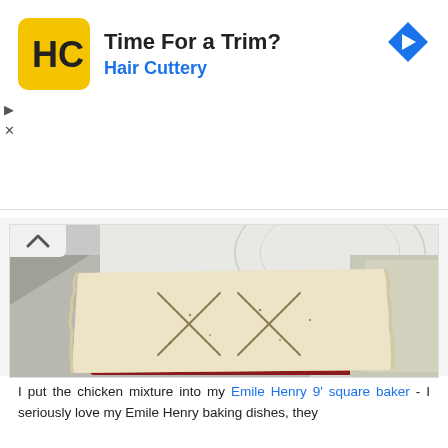[Figure (screenshot): Advertisement banner for Hair Cuttery salon. Yellow square logo with 'HC' text in black, title 'Time For a Trim?', subtitle 'Hair Cuttery' in blue, blue diamond arrow icon top right, play and close controls on left side.]
[Figure (photo): Photograph of a pale unbaked pie dough crust with X-shaped slits draped over a red ceramic square baking dish, placed on a foil-lined baking tray on a white pastry mat.]
I put the chicken mixture into my Emile Henry 9' square baker - I seriously love my Emile Henry baking dishes, they